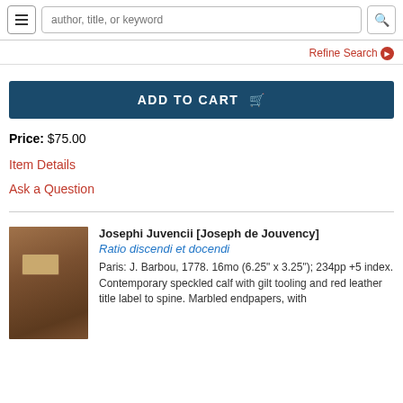author, title, or keyword
Refine Search
ADD TO CART
Price: $75.00
Item Details
Ask a Question
Josephi Juvencii [Joseph de Jouvency]
Ratio discendi et docendi
Paris: J. Barbou, 1778. 16mo (6.25" x 3.25"); 234pp +5 index. Contemporary speckled calf with gilt tooling and red leather title label to spine. Marbled endpapers, with